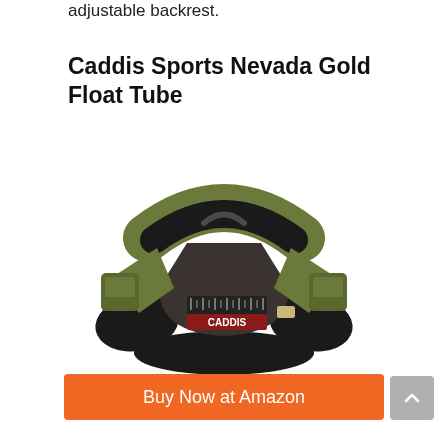adjustable backrest.
Caddis Sports Nevada Gold Float Tube
[Figure (photo): Caddis Sports Nevada Gold Float Tube product photo showing an olive green and black U-shaped float tube with multiple pockets, a fish ruler, and the CADDIS logo on the front apron.]
Buy Now at Amazon